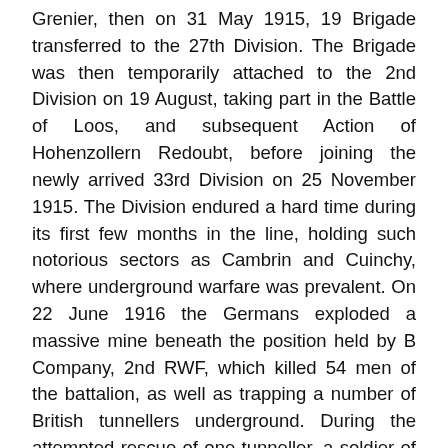Grenier, then on 31 May 1915, 19 Brigade transferred to the 27th Division. The Brigade was then temporarily attached to the 2nd Division on 19 August, taking part in the Battle of Loos, and subsequent Action of Hohenzollern Redoubt, before joining the newly arrived 33rd Division on 25 November 1915. The Division endured a hard time during its first few months in the line, holding such notorious sectors as Cambrin and Cuinchy, where underground warfare was prevalent. On 22 June 1916 the Germans exploded a massive mine beneath the position held by B Company, 2nd RWF, which killed 54 men of the battalion, as well as trapping a number of British tunnellers underground. During the attempted rescue of one tunneller, a soldier of the 14th Welsh, Sapper Hackett was awarded the VC. At the beginning of July, the 33rd Division moved out of the sector and